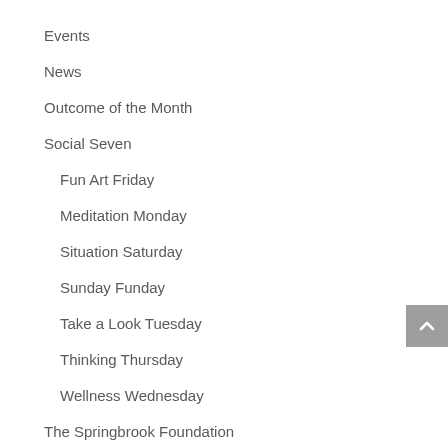Events
News
Outcome of the Month
Social Seven
Fun Art Friday
Meditation Monday
Situation Saturday
Sunday Funday
Take a Look Tuesday
Thinking Thursday
Wellness Wednesday
The Springbrook Foundation